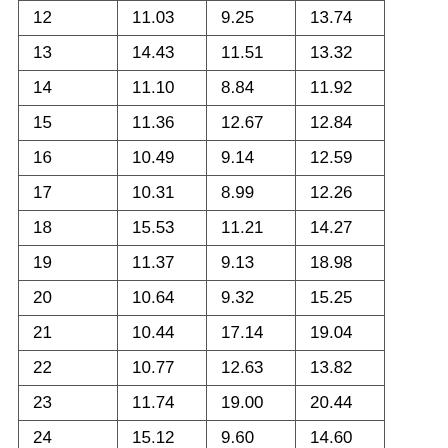| 12 | 11.03 | 9.25 | 13.74 |
| 13 | 14.43 | 11.51 | 13.32 |
| 14 | 11.10 | 8.84 | 11.92 |
| 15 | 11.36 | 12.67 | 12.84 |
| 16 | 10.49 | 9.14 | 12.59 |
| 17 | 10.31 | 8.99 | 12.26 |
| 18 | 15.53 | 11.21 | 14.27 |
| 19 | 11.37 | 9.13 | 18.98 |
| 20 | 10.64 | 9.32 | 15.25 |
| 21 | 10.44 | 17.14 | 19.04 |
| 22 | 10.77 | 12.63 | 13.82 |
| 23 | 11.74 | 19.00 | 20.44 |
| 24 | 15.12 | 9.60 | 14.60 |
| 25 | 11.33 | 11.21 | 15.56 |
| 26 | 11.28 | 9.55 |  |
| 27 | 10.82 | 11.26 |  |
| 28 | 11.00 | 9.54 |  |
| 29 | 11.38 | 11.29 |  |